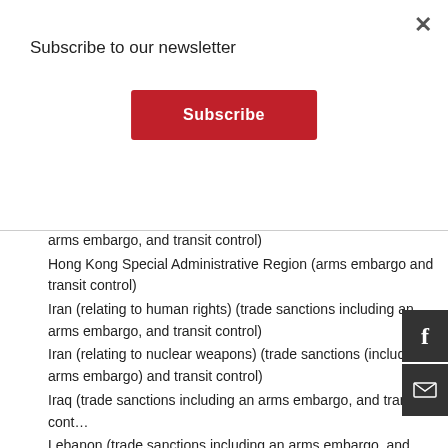Subscribe to our newsletter
Subscribe
arms embargo, and transit control)
Hong Kong Special Administrative Region (arms embargo and transit control)
Iran (relating to human rights) (trade sanctions including an arms embargo, and transit control)
Iran (relating to nuclear weapons) (trade sanctions (including an arms embargo) and transit control)
Iraq (trade sanctions including an arms embargo, and transit cont…
Lebanon (trade sanctions including an arms embargo, and transit control)
Libya (trade sanctions including an arms embargo, and transit control)
Russia (trade sanctions including an arms embargo, and transit control)
Somalia (trade sanctions including an arms embargo, and transit control)
South Sudan (trade sanctions including an arms embargo, and transit control)